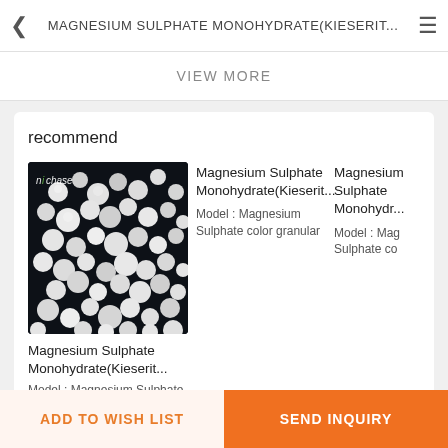MAGNESIUM SULPHATE MONOHYDRATE(KIESERIT...
VIEW MORE
recommend
[Figure (photo): White granular pellets of Magnesium Sulphate Monohydrate (Kieserite) on a dark background, with 'nichase' logo in top-left corner]
Magnesium Sulphate Monohydrate(Kieserit...
Model : Magnesium Sulphate color granular
Magnesium Sulphate Monohydrate(Kieserit...
Model : Magnesium Sulphate color granular
Magnesium Sulphate Monohydrate(Monohydr...
Model : Mag Sulphate co
ADD TO WISH LIST
SEND INQUIRY